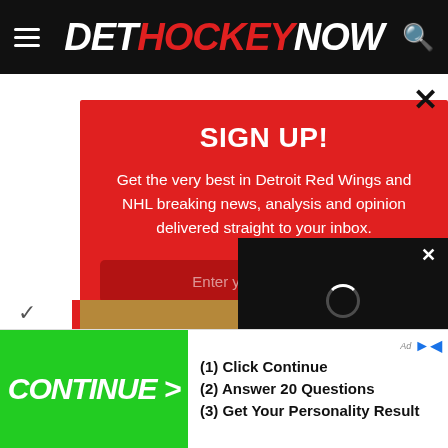DET HOCKEY NOW
SIGN UP!
Get the very best in Detroit Red Wings and NHL breaking news, analysis and opinion delivered straight to your inbox.
Enter your email here
[Figure (screenshot): Video player popup overlay in bottom right, dark background with loading spinner and close X button]
[Figure (screenshot): Advertisement banner at bottom: green CONTINUE > button on left, steps (1) Click Continue (2) Answer 20 Questions (3) Get Your Personality Result on right]